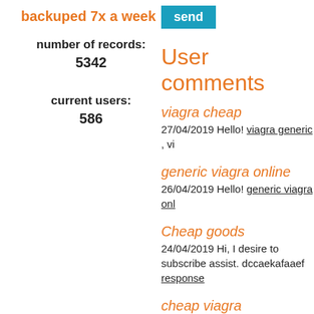backuped 7x a week
number of records:
5342
current users:
586
send
User comments
viagra cheap
27/04/2019 Hello! viagra generic , vi
generic viagra online
26/04/2019 Hello! generic viagra onl
Cheap goods
24/04/2019 Hi, I desire to subscribe assist. dccaekafaaef response
cheap viagra
18/04/2019 Hello! viagra super activ
viagra online
17/04/2019 Hello! generic cialis , via
viagra how do you get it
16/04/2019 Hello! viagra how do yo